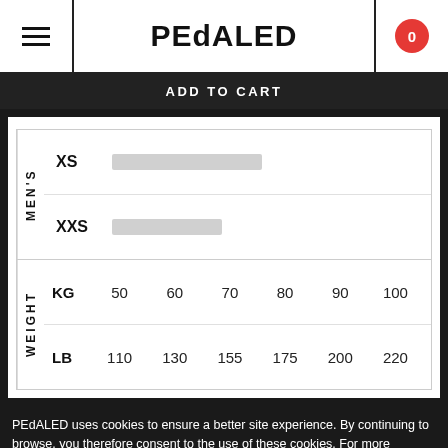PEdALED
ADD TO CART
|  |  |
| --- | --- |
| XS |  |
| XXS |  |
|  | 50 | 60 | 70 | 80 | 90 | 100 |
| --- | --- | --- | --- | --- | --- | --- |
| KG | 50 | 60 | 70 | 80 | 90 | 100 |
| LB | 110 | 130 | 155 | 175 | 200 | 220 |
PEdALED uses cookies to ensure a better site experience. By continuing to browse, you therefore consent to the use of these cookies. For more information, please consult our Cookie Policy.
OK